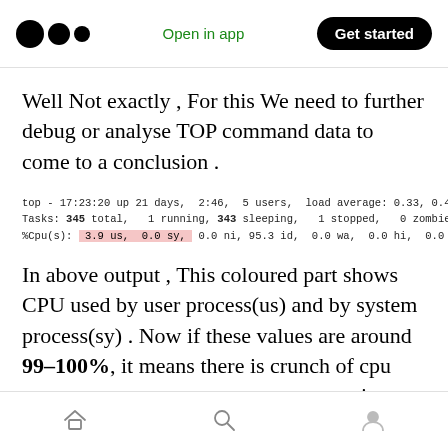Medium logo | Open in app | Get started
Well Not exactly , For this We need to further debug or analyse TOP command data to come to a conclusion .
top - 17:23:20 up 21 days,  2:46,  5 users,  load average: 0.33, 0.49, 0.46
Tasks: 345 total,   1 running, 343 sleeping,   1 stopped,   0 zombie
%Cpu(s):  3.9 us,  0.0 sy,  0.0 ni, 95.3 id,  0.0 wa,  0.0 hi,  0.0 si,  0.0 st
In above output , This coloured part shows CPU used by user process(us) and by system process(sy) . Now if these values are around 99–100%, it means there is crunch of cpu cores on your system or some process is consuming more
Home | Search | Profile